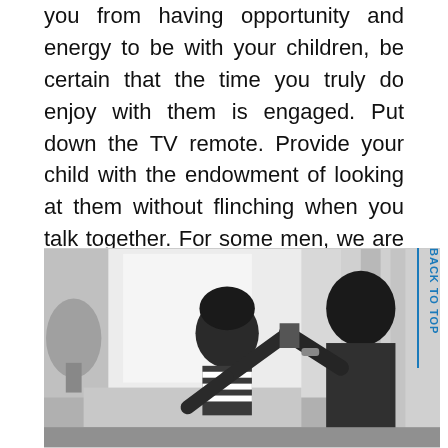you from having opportunity and energy to be with your children, be certain that the time you truly do enjoy with them is engaged. Put down the TV remote. Provide your child with the endowment of looking at them without flinching when you talk together. For some men, we are utilized to the specialty of half-tuning in with one eye on the TV and one eye on our child as they are talking. Right away, your child will likely tolerate this.
[Figure (photo): Black and white photograph of a father and young child playing together indoors. The child has curly hair and is wearing a striped shirt, reaching up toward the father who is holding something. Bright natural light in the background with a plant visible.]